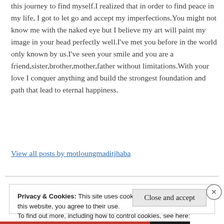this journey to find myself.I realized that in order to find peace in my life, I got to let go and accept my imperfections.You might not know me with the naked eye but I believe my art will paint my image in your head perfectly well.I've met you before in the world only known by us.I've seen your smile and you are a friend,sister,brother,mother,father without limitations.With your love I conquer anything and build the strongest foundation and path that lead to eternal happiness.
View all posts by motloungmaditjhaba
Privacy & Cookies: This site uses cookies. By continuing to use this website, you agree to their use.
To find out more, including how to control cookies, see here:
Cookie Policy
Close and accept